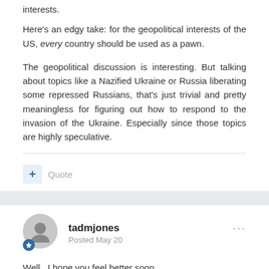interests.
Here's an edgy take: for the geopolitical interests of the US, every country should be used as a pawn.
The geopolitical discussion is interesting. But talking about topics like a Nazified Ukraine or Russia liberating some repressed Russians, that's just trivial and pretty meaningless for figuring out how to respond to the invasion of the Ukraine. Especially since those topics are highly speculative.
+ Quote
tadmjones
Posted May 20
Well , I hope you feel better soon.